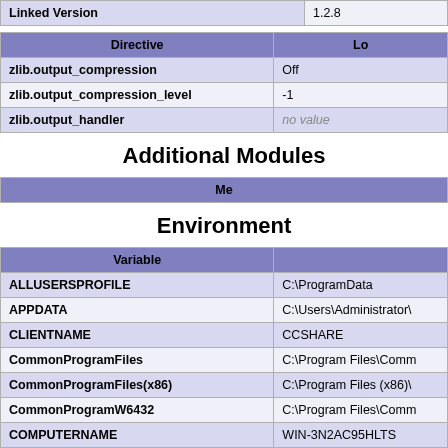| Linked Version |  |
| --- | --- |
| Linked Version | 1.2.8 |
| Directive | Lo... |
| --- | --- |
| zlib.output_compression | Off |
| zlib.output_compression_level | -1 |
| zlib.output_handler | no value |
Additional Modules
| Mo... |
| --- |
Environment
| Variable |  |
| --- | --- |
| ALLUSERSPROFILE | C:\ProgramData |
| APPDATA | C:\Users\Administrator\ |
| CLIENTNAME | CCSHARE |
| CommonProgramFiles | C:\Program Files\Comm |
| CommonProgramFiles(x86) | C:\Program Files (x86)\ |
| CommonProgramW6432 | C:\Program Files\Comm |
| COMPUTERNAME | WIN-3N2AC95HLTS |